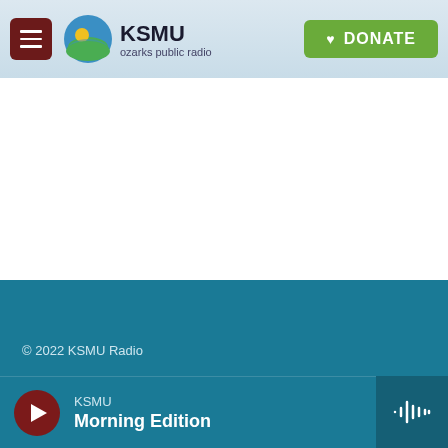KSMU ozarks public radio — DONATE
Elizabeth Rembert
© 2022 KSMU Radio
KSMU Morning Edition